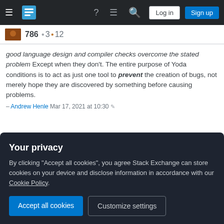Stack Exchange navigation bar with hamburger menu, logo, help, chat, search icons, Log in and Sign up buttons
786 • 3 • 12
good language design and compiler checks overcome the stated problem Except when they don't. The entire purpose of Yoda conditions is to act as just one tool to prevent the creation of bugs, not merely hope they are discovered by something before causing problems. – Andrew Henle Mar 17, 2021 at 10:30 ✏
@AndrewHenle That was in brackets, because that isn't my answer, but food for thought. Different people have different circumstances and are quite free to apply accordingly. – Kind Contributor Mar 18, 2021 at 0:04
Your privacy
By clicking "Accept all cookies", you agree Stack Exchange can store cookies on your device and disclose information in accordance with our Cookie Policy.
Accept all cookies   Customize settings
@TomAuger I'm a humble answerer, with no world-domination ambitions. Kindly point out which section of